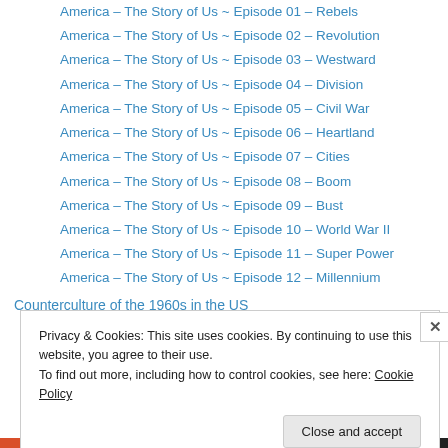America – The Story of Us ~ Episode 01 – Rebels
America – The Story of Us ~ Episode 02 – Revolution
America – The Story of Us ~ Episode 03 – Westward
America – The Story of Us ~ Episode 04 – Division
America – The Story of Us ~ Episode 05 – Civil War
America – The Story of Us ~ Episode 06 – Heartland
America – The Story of Us ~ Episode 07 – Cities
America – The Story of Us ~ Episode 08 – Boom
America – The Story of Us ~ Episode 09 – Bust
America – The Story of Us ~ Episode 10 – World War II
America – The Story of Us ~ Episode 11 – Super Power
America – The Story of Us ~ Episode 12 – Millennium
Counterculture of the 1960s in the US
Privacy & Cookies: This site uses cookies. By continuing to use this website, you agree to their use.
To find out more, including how to control cookies, see here: Cookie Policy